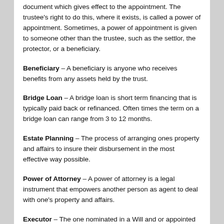document which gives effect to the appointment. The trustee's right to do this, where it exists, is called a power of appointment. Sometimes, a power of appointment is given to someone other than the trustee, such as the settlor, the protector, or a beneficiary.
Beneficiary – A beneficiary is anyone who receives benefits from any assets held by the trust.
Bridge Loan – A bridge loan is short term financing that is typically paid back or refinanced. Often times the term on a bridge loan can range from 3 to 12 months.
Estate Planning – The process of arranging ones property and affairs to insure their disbursement in the most effective way possible.
Power of Attorney – A power of attorney is a legal instrument that empowers another person as agent to deal with one's property and affairs.
Executor – The one nominated in a Will and or appointed